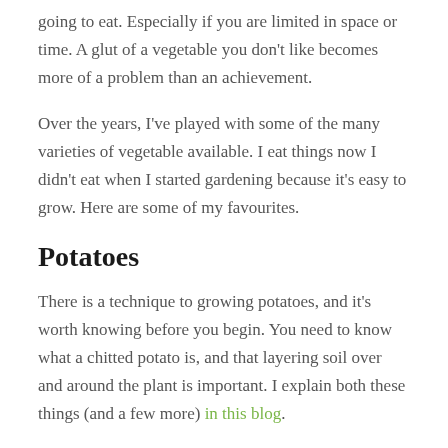going to eat. Especially if you are limited in space or time. A glut of a vegetable you don't like becomes more of a problem than an achievement.
Over the years, I've played with some of the many varieties of vegetable available. I eat things now I didn't eat when I started gardening because it's easy to grow. Here are some of my favourites.
Potatoes
There is a technique to growing potatoes, and it's worth knowing before you begin. You need to know what a chitted potato is, and that layering soil over and around the plant is important. I explain both these things (and a few more) in this blog.
Once you have an understanding of the